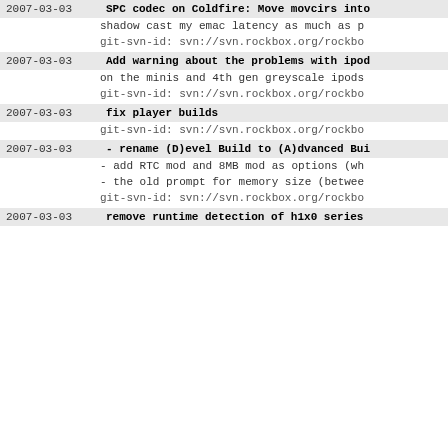2007-03-03  SPC codec on Coldfire: Move movcirs into...
shadow cast my emac latency as much as p...
git-svn-id: svn://svn.rockbox.org/rockbo...
2007-03-03  Add warning about the problems with ipod...
on the minis and 4th gen greyscale ipods...
git-svn-id: svn://svn.rockbox.org/rockbo...
2007-03-03  fix player builds
git-svn-id: svn://svn.rockbox.org/rockbo...
2007-03-03  - rename (D)evel Build to (A)dvanced Bui...
- add RTC mod and 8MB mod as options (wh...
- the old prompt for memory size (betwee...
git-svn-id: svn://svn.rockbox.org/rockbo...
2007-03-03  remove runtime detection of h1x0 series...